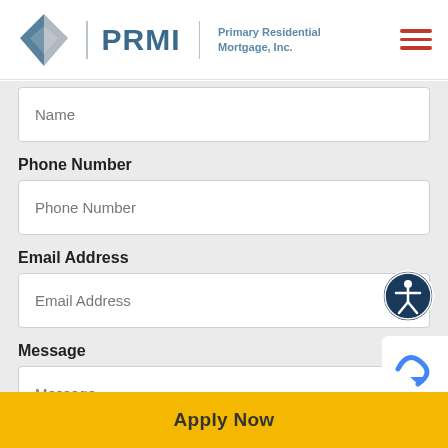[Figure (logo): PRMI logo with diamond shape and text 'PRMI Primary Residential Mortgage, Inc.' and hamburger menu icon]
Name
Phone Number
Phone Number
Email Address
Email Address
Message
Message
Apply Now